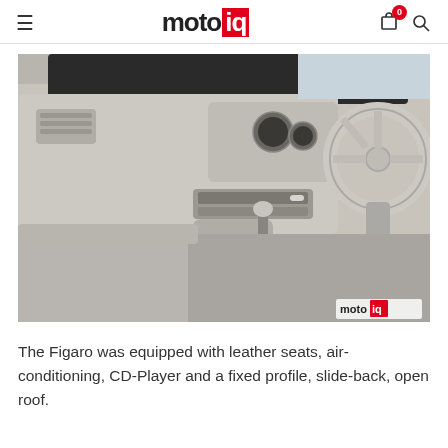motoiq
[Figure (photo): Interior of a Nissan Figaro showing the dashboard, steering wheel, center console with CD player and radio, gear shift lever, and leather seats. The interior is light beige/cream colored. A motoiq watermark appears in the bottom right corner.]
The Figaro was equipped with leather seats, air-conditioning, CD-Player and a fixed profile, slide-back, open roof.